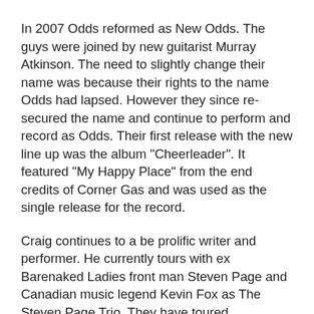In 2007 Odds reformed as New Odds. The guys were joined by new guitarist Murray Atkinson. The need to slightly change their name was because their rights to the name Odds had lapsed. However they since re-secured the name and continue to perform and record as Odds. Their first release with the new line up was the album "Cheerleader". It featured "My Happy Place" from the end credits of Corner Gas and was used as the single release for the record.
Craig continues to a be prolific writer and performer. He currently tours with ex Barenaked Ladies front man Steven Page and Canadian music legend Kevin Fox as The Steven Page Trio. They have toured extensively around Canada and the U.S. and are soon to return to the United Kingdom for a second tour. His recent scoring work includes Corner Gas: Animated, the fantastic documentary Being Canadian and Kids in the Hall mini series Death Comes to Town.
So with this evidence Ole Willy Shakes was correct in his presumption that music be the food of love. With this in mind, the work of Craig Northey has fed the love of many and